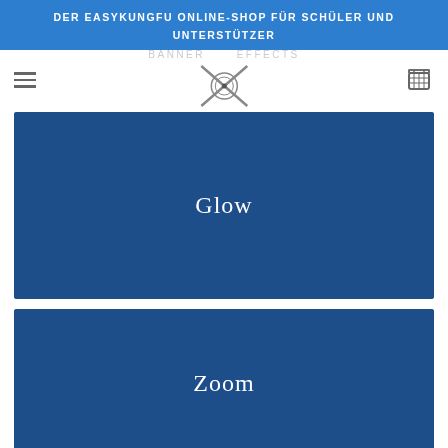DER EASYKUNGFU ONLINE-SHOP FÜR SCHÜLER UND UNTERSTÜTZER
[Figure (logo): Navigation bar with hamburger menu, circular martial arts logo with crossed weapons, banner effects text watermark, and shopping cart icon]
[Figure (illustration): Dark blue banner rectangle with white serif text 'Glow' centered]
[Figure (illustration): Dark blue banner rectangle with white serif text 'Zoom' centered]